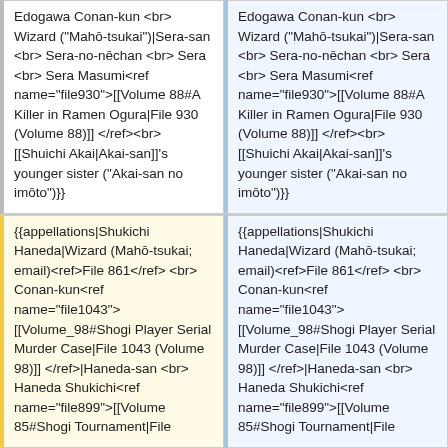Edogawa Conan-kun <br> Wizard ("Mahō-tsukai")|Sera-san <br> Sera-no-nēchan <br> Sera <br> Sera Masumi<ref name="file930">[[Volume 88#A Killer in Ramen Ogura|File 930 (Volume 88)]] </ref><br> [[Shuichi Akai|Akai-san]]'s younger sister ("Akai-san no imōto")}}
Edogawa Conan-kun <br> Wizard ("Mahō-tsukai")|Sera-san <br> Sera-no-nēchan <br> Sera <br> Sera Masumi<ref name="file930">[[Volume 88#A Killer in Ramen Ogura|File 930 (Volume 88)]] </ref><br> [[Shuichi Akai|Akai-san]]'s younger sister ("Akai-san no imōto")}}
{{appellations|Shukichi Haneda|Wizard (Mahō-tsukai; email)<ref>File 861</ref> <br> Conan-kun<ref name="file1043">[[Volume_98#Shogi Player Serial Murder Case|File 1043 (Volume 98)]] </ref>|Haneda-san <br> Haneda Shukichi<ref name="file899">[[Volume 85#Shogi Tournament|File
{{appellations|Shukichi Haneda|Wizard (Mahō-tsukai; email)<ref>File 861</ref> <br> Conan-kun<ref name="file1043">[[Volume_98#Shogi Player Serial Murder Case|File 1043 (Volume 98)]] </ref>|Haneda-san <br> Haneda Shukichi<ref name="file899">[[Volume 85#Shogi Tournament|File